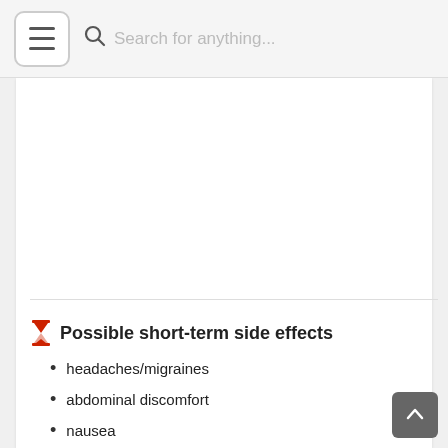Search for anything...
Possible short-term side effects
headaches/migraines
abdominal discomfort
nausea
vomiting